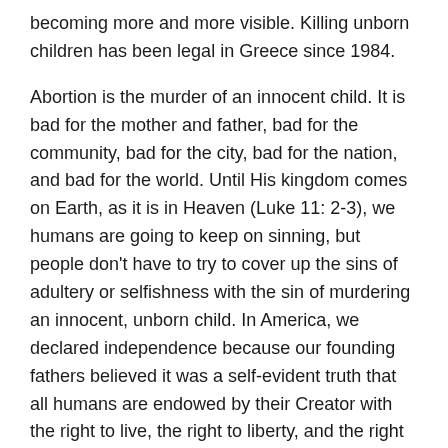becoming more and more visible. Killing unborn children has been legal in Greece since 1984.
Abortion is the murder of an innocent child. It is bad for the mother and father, bad for the community, bad for the city, bad for the nation, and bad for the world. Until His kingdom comes on Earth, as it is in Heaven (Luke 11: 2-3), we humans are going to keep on sinning, but people don't have to try to cover up the sins of adultery or selfishness with the sin of murdering an innocent, unborn child. In America, we declared independence because our founding fathers believed it was a self-evident truth that all humans are endowed by their Creator with the right to live, the right to liberty, and the right to pursue happiness. Every child, born and unborn, deserves these rights, and it should be against the law to deny a child such rights.